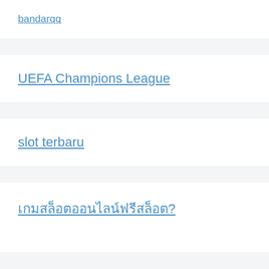bandarqq
UEFA Champions League
slot terbaru
เกมสล็อตออนไลน์ฟรีสล็อต?